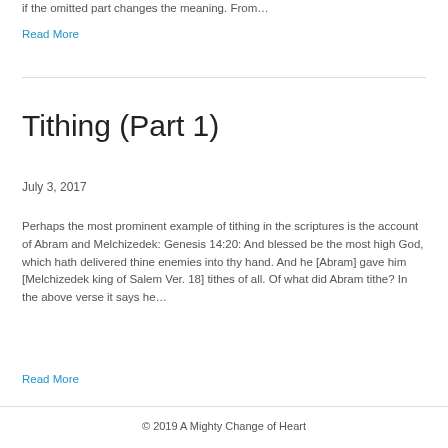if the omitted part changes the meaning. From…
Read More
Tithing (Part 1)
July 3, 2017
Perhaps the most prominent example of tithing in the scriptures is the account of Abram and Melchizedek: Genesis 14:20: And blessed be the most high God, which hath delivered thine enemies into thy hand. And he [Abram] gave him [Melchizedek king of Salem Ver. 18] tithes of all. Of what did Abram tithe?  In the above verse it says he…
Read More
© 2019 A Mighty Change of Heart